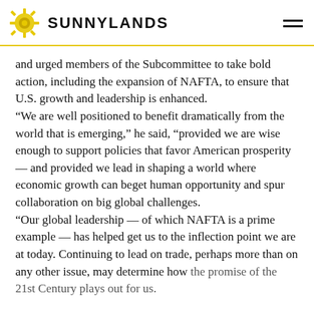SUNNYLANDS
and urged members of the Subcommittee to take bold action, including the expansion of NAFTA, to ensure that U.S. growth and leadership is enhanced.
“We are well positioned to benefit dramatically from the world that is emerging,” he said, “provided we are wise enough to support policies that favor American prosperity — and provided we lead in shaping a world where economic growth can beget human opportunity and spur collaboration on big global challenges.
“Our global leadership — of which NAFTA is a prime example — has helped get us to the inflection point we are at today. Continuing to lead on trade, perhaps more than on any other issue, may determine how the promise of the 21st Century plays out for us.